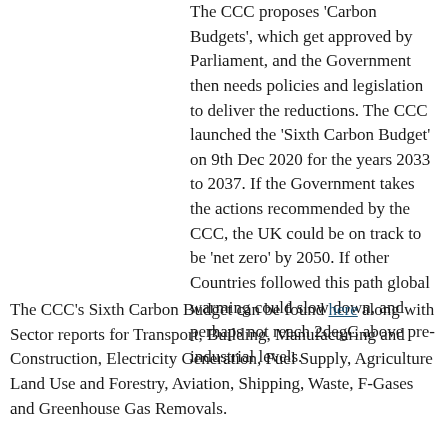The CCC proposes 'Carbon Budgets', which get approved by Parliament, and the Government then needs policies and legislation to deliver the reductions. The CCC launched the 'Sixth Carbon Budget' on 9th Dec 2020 for the years 2033 to 2037. If the Government takes the actions recommended by the CCC, the UK could be on track to be 'net zero' by 2050. If other Countries followed this path global warming could slow down, and perhaps not reach 2degC above pre-industrial levels.
The CCC's Sixth Carbon Budget can be found here along with Sector reports for Transport, Building, Manufacturing and Construction, Electricity Generation, Fuel Supply, Agriculture Land Use and Forestry, Aviation, Shipping, Waste, F-Gases and Greenhouse Gas Removals.